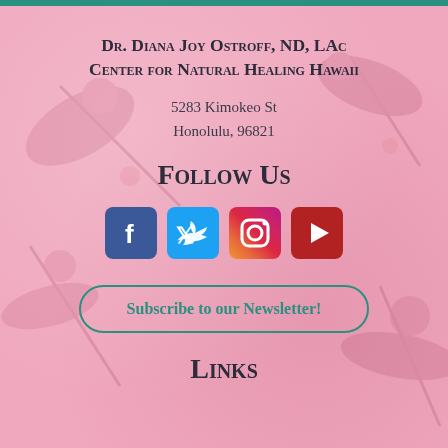Dr. Diana Joy Ostroff, ND, LAc
Center for Natural Healing Hawaii
5283 Kimokeo St
Honolulu, 96821
Follow Us
[Figure (infographic): Four social media icon buttons: Facebook (blue), Twitter (light blue), Instagram (pink/red gradient), YouTube (dark red)]
Subscribe to our Newsletter!
Links